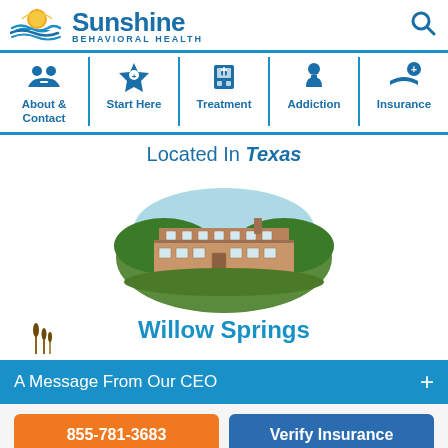[Figure (logo): Sunshine Behavioral Health logo with sun and waves icon and text 'Sunshine BEHAVIORAL HEALTH']
[Figure (infographic): Navigation bar with 5 icons and labels: About & Contact, Start Here, Treatment, Addiction, Insurance]
Located In Texas
[Figure (illustration): Illustrated facility building inside green oval with blue sky background - Willow Springs treatment center]
Willow Springs
A Message From Our CEO
855-781-3683
Verify Insurance